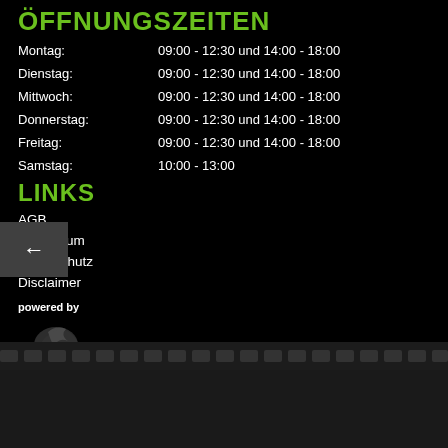ÖFFNUNGSZEITEN
Montag: 09:00 - 12:30 und 14:00 - 18:00
Dienstag: 09:00 - 12:30 und 14:00 - 18:00
Mittwoch: 09:00 - 12:30 und 14:00 - 18:00
Donnerstag: 09:00 - 12:30 und 14:00 - 18:00
Freitag: 09:00 - 12:30 und 14:00 - 18:00
Samstag: 10:00 - 13:00
LINKS
AGB
Impressum
Datenschutz
Disclaimer
powered by
[Figure (logo): 1000PS logo with motorcycle/flame graphic]